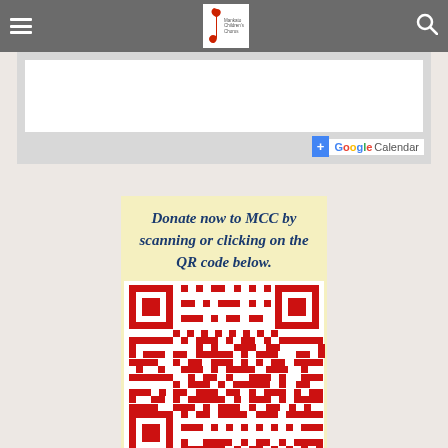Mankato Children's Chorus navigation bar with logo, hamburger menu, and search icon
[Figure (screenshot): Google Calendar embedded widget area with a white inner panel and a blue + Google Calendar button at bottom right]
[Figure (other): Donation banner with text 'Donate now to MCC by scanning or clicking on the QR code below.' on a yellow background, with a red and white QR code below it]